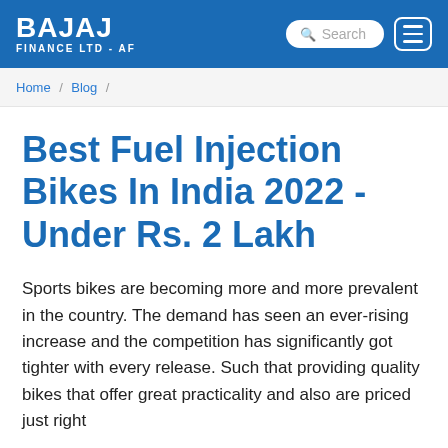BAJAJ FINANCE LTD - AF
Home / Blog /
Best Fuel Injection Bikes In India 2022 - Under Rs. 2 Lakh
Sports bikes are becoming more and more prevalent in the country. The demand has seen an ever-rising increase and the competition has significantly got tighter with every release. Such that providing quality bikes that offer great practicality and also are priced just right